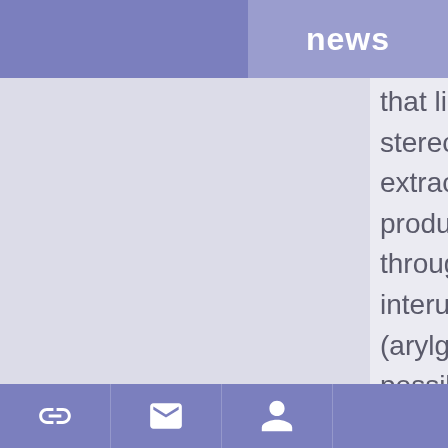news
that lignins w stereochemis extracts supp products. In through radic interunit linka (arylglycerol- possible opti the typical ar as the two di
link, mail, user icons